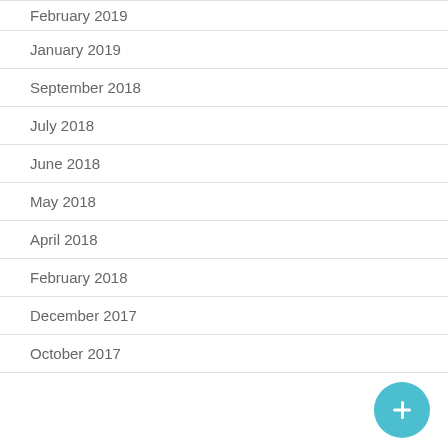February 2019
January 2019
September 2018
July 2018
June 2018
May 2018
April 2018
February 2018
December 2017
October 2017